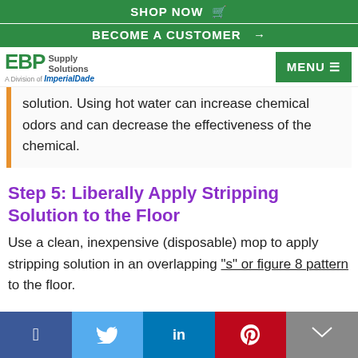SHOP NOW 🛒
BECOME A CUSTOMER →
[Figure (logo): EBP Supply Solutions logo, A Division of ImperialDade]
solution. Using hot water can increase chemical odors and can decrease the effectiveness of the chemical.
Step 5: Liberally Apply Stripping Solution to the Floor
Use a clean, inexpensive (disposable) mop to apply stripping solution in an overlapping "s" or figure 8 pattern to the floor.